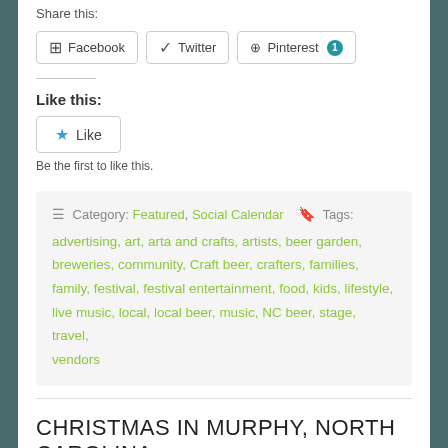Share this:
Facebook  Twitter  Pinterest 1
Like this:
Like
Be the first to like this.
Category: Featured, Social Calendar  Tags: advertising, art, arta and crafts, artists, beer garden, breweries, community, Craft beer, crafters, families, family, festival, festival entertainment, food, kids, lifestyle, live music, local, local beer, music, NC beer, stage, travel, vendors
CHRISTMAS IN MURPHY, NORTH CAROLINA